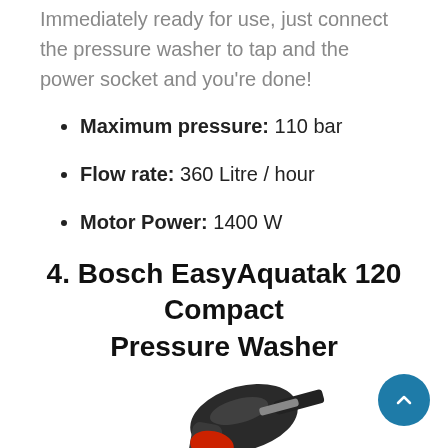Immediately ready for use, just connect the pressure washer to tap and the power socket and you're done!
Maximum pressure: 110 bar
Flow rate: 360 Litre / hour
Motor Power: 1400 W
4. Bosch EasyAquatak 120 Compact Pressure Washer
[Figure (photo): Partial view of a Bosch EasyAquatak 120 Compact Pressure Washer gun/nozzle handle in black and red, shown from above against white background.]